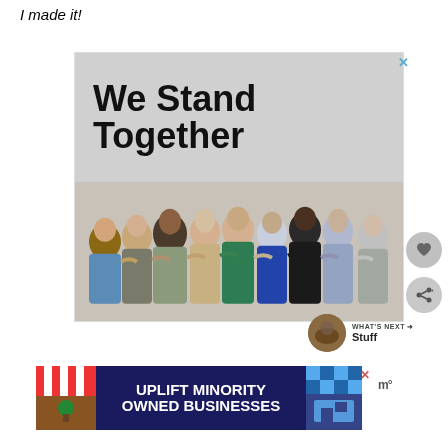I made it!
[Figure (photo): Advertisement image showing a group of diverse people viewed from behind, arms around each other in solidarity, with bold text 'We Stand Together' above them on a gray background]
[Figure (photo): Heart/like button - circular gray button with heart icon]
[Figure (photo): Share button - circular gray button with share icon]
WHAT'S NEXT → Stuff
[Figure (photo): Banner advertisement: 'UPLIFT MINORITY OWNED BUSINESSES' with storefront illustrations on dark blue background]